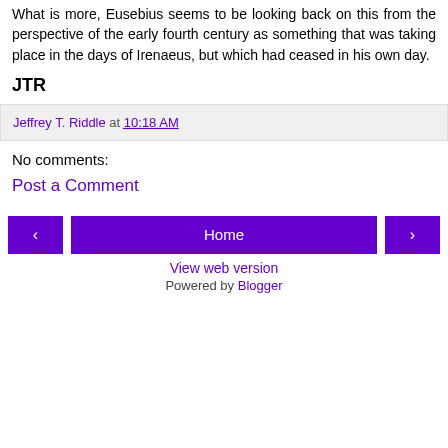What is more, Eusebius seems to be looking back on this from the perspective of the early fourth century as something that was taking place in the days of Irenaeus, but which had ceased in his own day.
JTR
Jeffrey T. Riddle at 10:18 AM
No comments:
Post a Comment
Home
View web version
Powered by Blogger